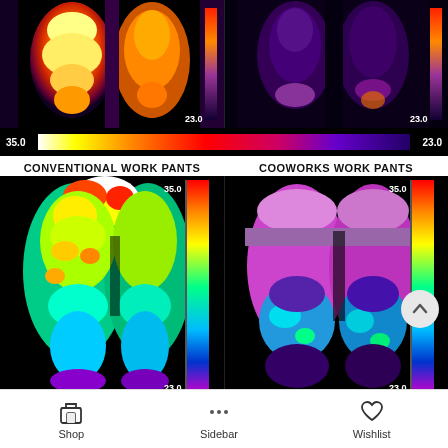[Figure (photo): Thermal infrared image (top row): Two side-by-side thermal images showing legs wearing dark work pants in a cool/purple color scheme, with temperature scale 23.0 at top right of each image.]
[Figure (infographic): Horizontal thermal color scale bar from 35.0 (white/hot) on the left to 23.0 (dark blue/cool) on the right.]
CONVENTIONAL WORK PANTS
COOWORKS WORK PANTS
[Figure (photo): Thermal infrared image (bottom left): Legs wearing conventional work pants shown in warm colors (yellow/green/red) indicating higher heat retention. Color scale bar on right from 35.0 to 23.0. Temperature label 23.0 bottom right.]
[Figure (photo): Thermal infrared image (bottom right): Legs wearing Cooworks work pants shown in cool colors (blue/purple/pink) indicating lower heat retention. Color scale bar on right from 35.0 to 23.0. Temperature label 23.0 bottom right.]
Shop   Sidebar   Wishlist